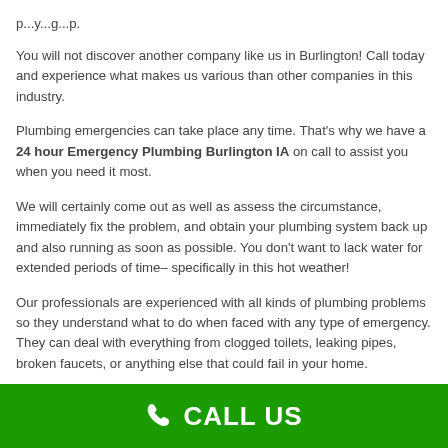You will not discover another company like us in Burlington! Call today and experience what makes us various than other companies in this industry.
Plumbing emergencies can take place any time. That's why we have a 24 hour Emergency Plumbing Burlington IA on call to assist you when you need it most.
We will certainly come out as well as assess the circumstance, immediately fix the problem, and obtain your plumbing system back up and also running as soon as possible. You don't want to lack water for extended periods of time– specifically in this hot weather!
Our professionals are experienced with all kinds of plumbing problems so they understand what to do when faced with any type of emergency. They can deal with everything from clogged toilets, leaking pipes, broken faucets, or anything else that could fail in your home.
CALL US